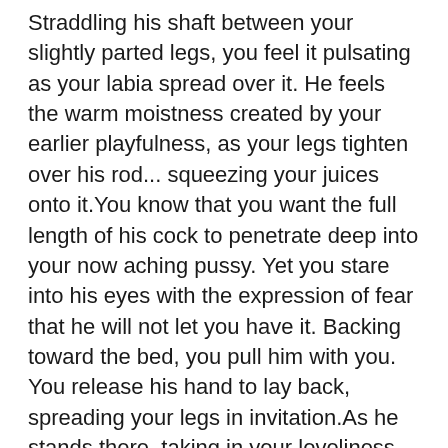Straddling his shaft between your slightly parted legs, you feel it pulsating as your labia spread over it. He feels the warm moistness created by your earlier playfulness, as your legs tighten over his rod... squeezing your juices onto it.You know that you want the full length of his cock to penetrate deep into your now aching pussy. Yet you stare into his eyes with the expression of fear that he will not let you have it. Backing toward the bed, you pull him with you. You release his hand to lay back, spreading your legs in invitation.As he stands there, taking in your loveliness, your hands artistically travel from your hips, up the sides of your body...to your breasts, softly surrounding their fullness. sahabet güvenilirmi You let a finger glide over your fully erect nipple, sending a chill down your spine...showing him where to begin elevating your passion. You extend your hands to him,